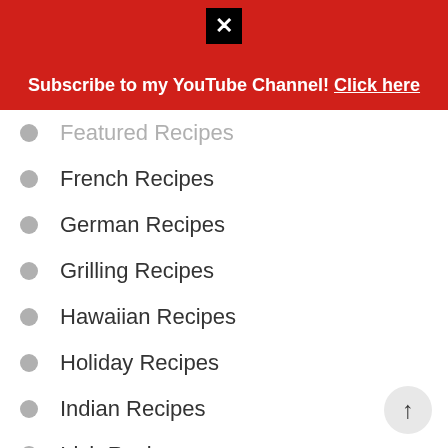Subscribe to my YouTube Channel! Click here
Featured Recipes
French Recipes
German Recipes
Grilling Recipes
Hawaiian Recipes
Holiday Recipes
Indian Recipes
Irish Recipes
Italian Recipes